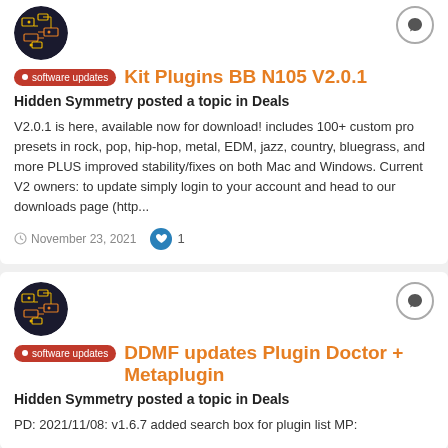[Figure (illustration): User avatar circle with circuit board pattern in dark background with orange/yellow lines]
Kit Plugins BB N105 V2.0.1
Hidden Symmetry posted a topic in Deals
V2.0.1 is here, available now for download! includes 100+ custom pro presets in rock, pop, hip-hop, metal, EDM, jazz, country, bluegrass, and more PLUS improved stability/fixes on both Mac and Windows. Current V2 owners: to update simply login to your account and head to our downloads page (http...
November 23, 2021  1
[Figure (illustration): User avatar circle with circuit board pattern in dark background with orange/yellow lines]
DDMF updates Plugin Doctor + Metaplugin
Hidden Symmetry posted a topic in Deals
PD: 2021/11/08: v1.6.7 added search box for plugin list MP: